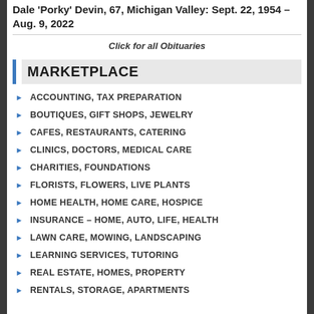Dale 'Porky' Devin, 67, Michigan Valley: Sept. 22, 1954 – Aug. 9, 2022
Click for all Obituaries
MARKETPLACE
ACCOUNTING, TAX PREPARATION
BOUTIQUES, GIFT SHOPS, JEWELRY
CAFES, RESTAURANTS, CATERING
CLINICS, DOCTORS, MEDICAL CARE
CHARITIES, FOUNDATIONS
FLORISTS, FLOWERS, LIVE PLANTS
HOME HEALTH, HOME CARE, HOSPICE
INSURANCE – HOME, AUTO, LIFE, HEALTH
LAWN CARE, MOWING, LANDSCAPING
LEARNING SERVICES, TUTORING
REAL ESTATE, HOMES, PROPERTY
RENTALS, STORAGE, APARTMENTS